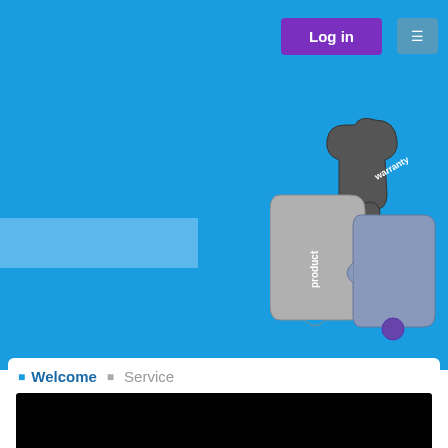Log in
[Figure (illustration): A thumbs-up made of puzzle pieces labeled 'product' and 'warranty' on a blue background]
Welcome  Service
[Figure (other): Black redacted/censored bar obscuring content]
For us service is just as important as our products. We want every individual client to be completely satisfied with the performance of our products and systems. The only way we can achieve this is by providing you with the best possible service...